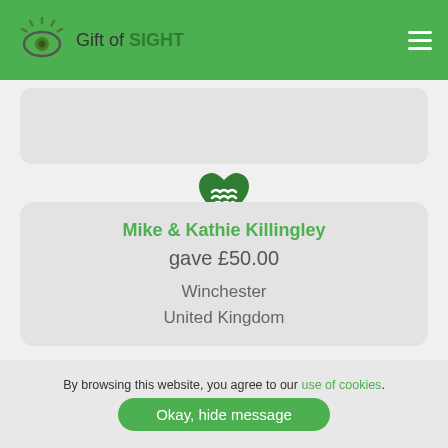Gift of SIGHT
[Figure (logo): Green eye icon with rays above it, labeled 'Gift of SIGHT' with SIGHT in dark green bold]
[Figure (illustration): Green heart with handshake/hands icon inside]
Mike & Kathie Killingley gave £50.00 Winchester United Kingdom
By browsing this website, you agree to our use of cookies.